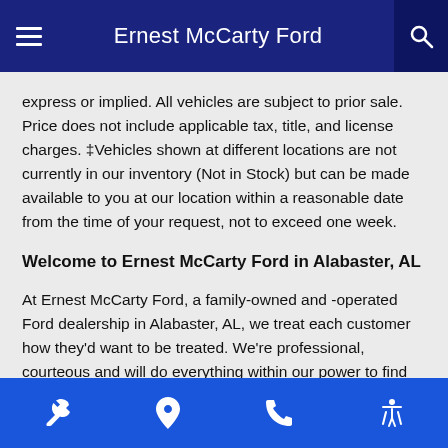Ernest McCarty Ford
express or implied. All vehicles are subject to prior sale. Price does not include applicable tax, title, and license charges. ‡Vehicles shown at different locations are not currently in our inventory (Not in Stock) but can be made available to you at our location within a reasonable date from the time of your request, not to exceed one week.
Welcome to Ernest McCarty Ford in Alabaster, AL
At Ernest McCarty Ford, a family-owned and -operated Ford dealership in Alabaster, AL, we treat each customer how they'd want to be treated. We're professional, courteous and will do everything within our power to find you the right new or used Ford that's right for your lifestyle. Even more, we're here for you throughout the entire Ford ownership experience, as we offer expert Ford service to keep your vehicle in tiptop condition. We've won the President's Award multiple times, which goes to show you how committed we are to customer